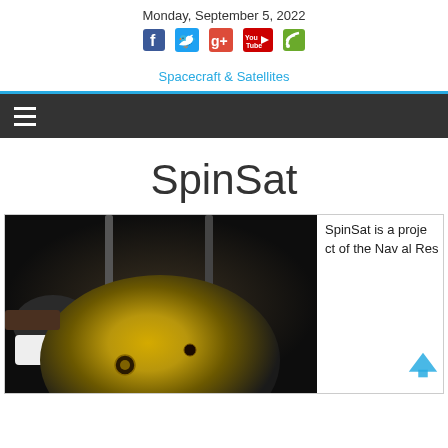Monday, September 5, 2022
[Figure (logo): Social media icons: Facebook, Twitter, Google+, YouTube, RSS]
[Figure (logo): Spacecraft & Satellites site logo/text]
≡ navigation menu hamburger icon
SpinSat
[Figure (photo): Photo of SpinSat spherical satellite with metallic gold surface being assembled in a lab]
SpinSat is a project of the Naval Res